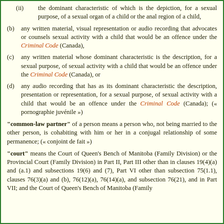(ii) the dominant characteristic of which is the depiction, for a sexual purpose, of a sexual organ of a child or the anal region of a child,
(b) any written material, visual representation or audio recording that advocates or counsels sexual activity with a child that would be an offence under the Criminal Code (Canada),
(c) any written material whose dominant characteristic is the description, for a sexual purpose, of sexual activity with a child that would be an offence under the Criminal Code (Canada), or
(d) any audio recording that has as its dominant characteristic the description, presentation or representation, for a sexual purpose, of sexual activity with a child that would be an offence under the Criminal Code (Canada); (« pornographie juvénile »)
"common-law partner" of a person means a person who, not being married to the other person, is cohabiting with him or her in a conjugal relationship of some permanence; (« conjoint de fait »)
"court" means the Court of Queen's Bench of Manitoba (Family Division) or the Provincial Court (Family Division) in Part II, Part III other than in clauses 19(4)(a) and (a.1) and subsections 19(6) and (7), Part VI other than subsection 75(1.1), clauses 76(3)(a) and (b), 76(12)(a), 76(14)(a), and subsection 76(21), and in Part VII; and the Court of Queen's Bench of Manitoba (Family